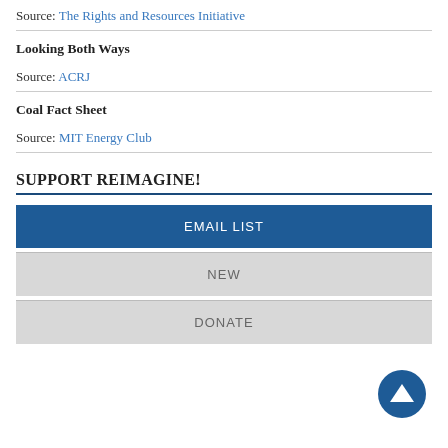Source: The Rights and Resources Initiative
Looking Both Ways
Source: ACRJ
Coal Fact Sheet
Source: MIT Energy Club
SUPPORT REIMAGINE!
EMAIL LIST
NEW
DONATE